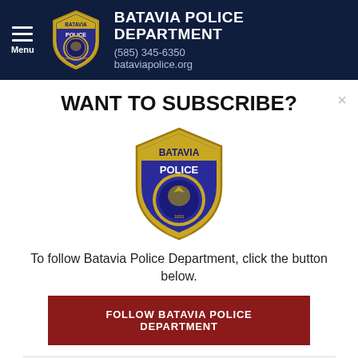BATAVIA POLICE DEPARTMENT
(585) 345-6350
bataviapolice.org
WANT TO SUBSCRIBE?
[Figure (logo): Batavia Police Department badge/shield logo — blue and gold shield with 'BATAVIA POLICE' text and 'Tradition of Service']
To follow Batavia Police Department, click the button below.
FOLLOW BATAVIA POLICE DEPARTMENT
Download the CRIMEWATCH app and follow Batavia Police Department.